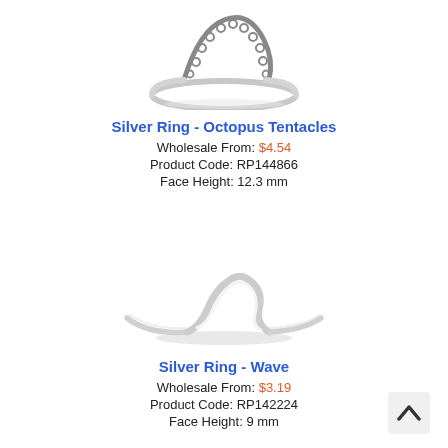[Figure (photo): Silver Ring - Octopus Tentacles product photo, partial view cropped at top]
Silver Ring - Octopus Tentacles
Wholesale From: $4.54
Product Code: RP144866
Face Height: 12.3 mm
[Figure (photo): Silver Ring - Wave product photo, silver wave-shaped ring on white background]
Silver Ring - Wave
Wholesale From: $3.19
Product Code: RP142224
Face Height: 9 mm